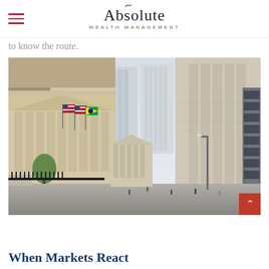Absolute WEALTH MANAGEMENT
to know the route.
[Figure (photo): Street-level view of Wall Street, New York, showing the New York Stock Exchange building with neoclassical columns on the left, tall skyscrapers in the background, American flags and Brazilian flag hanging from the exchange building, and a red scroll-to-top button in the bottom right corner of the image.]
When Markets React